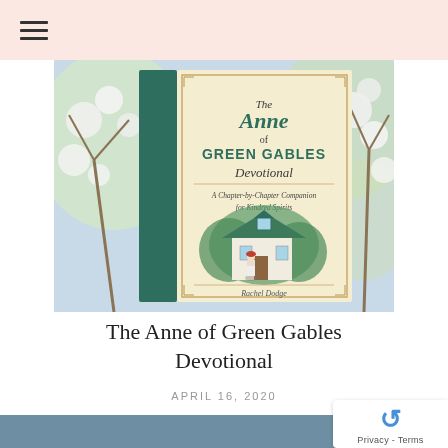[Figure (screenshot): Navigation hamburger menu icon on a light pink/peach background header bar]
[Figure (photo): Book cover of 'The Anne of Green Gables Devotional: A Chapter-by-Chapter Companion for Kindred Spirits' by Rachel Dodge, shown against a blossoming white flower tree background. The book has a teal/dark green spine and a cream cover with illustration of a girl in front of a green gabled house.]
The Anne of Green Gables Devotional
APRIL 16, 2020
[Figure (screenshot): Partial view of a blue-grey content block at the bottom of the page, with a reCAPTCHA widget overlaid on the right side showing 'Privacy - Terms']